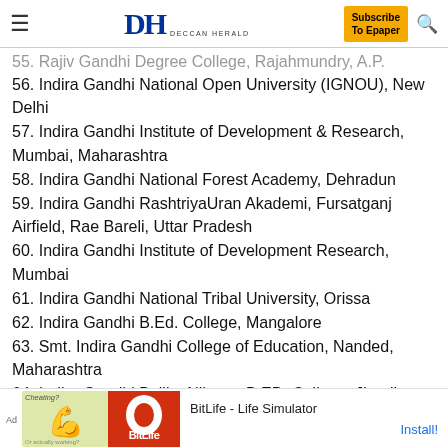DH DECCAN HERALD | Subscribe To Epaper
55. Rajiv Gandhi Degree College, Rajahmundry, A.P.
56. Indira Gandhi National Open University (IGNOU), New Delhi
57. Indira Gandhi Institute of Development & Research, Mumbai, Maharashtra
58. Indira Gandhi National Forest Academy, Dehradun
59. Indira Gandhi RashtriyaUran Akademi, Fursatganj Airfield, Rae Bareli, Uttar Pradesh
60. Indira Gandhi Institute of Development Research, Mumbai
61. Indira Gandhi National Tribal University, Orissa
62. Indira Gandhi B.Ed. College, Mangalore
63. Smt. Indira Gandhi College of Education, Nanded, Maharashtra
64. Indira Gandhi Balika Niketan B.ED. College, Jhunjhunu,
[Figure (infographic): Advertisement banner for BitLife - Life Simulator app with install button]